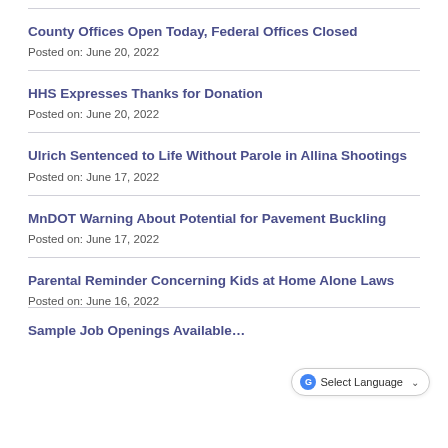County Offices Open Today, Federal Offices Closed
Posted on: June 20, 2022
HHS Expresses Thanks for Donation
Posted on: June 20, 2022
Ulrich Sentenced to Life Without Parole in Allina Shootings
Posted on: June 17, 2022
MnDOT Warning About Potential for Pavement Buckling
Posted on: June 17, 2022
Parental Reminder Concerning Kids at Home Alone Laws
Posted on: June 16, 2022
Sample Job Openings Available…